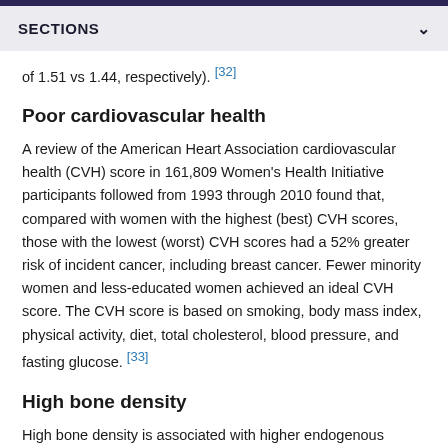SECTIONS
of 1.51 vs 1.44, respectively). [32]
Poor cardiovascular health
A review of the American Heart Association cardiovascular health (CVH) score in 161,809 Women's Health Initiative participants followed from 1993 through 2010 found that, compared with women with the highest (best) CVH scores, those with the lowest (worst) CVH scores had a 52% greater risk of incident cancer, including breast cancer. Fewer minority women and less-educated women achieved an ideal CVH score. The CVH score is based on smoking, body mass index, physical activity, diet, total cholesterol, blood pressure, and fasting glucose. [33]
High bone density
High bone density is associated with higher endogenous